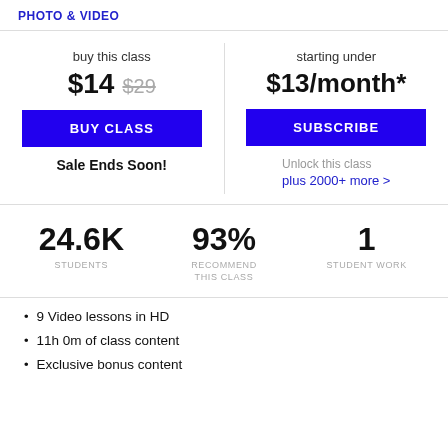PHOTO & VIDEO
buy this class
$14  $29
starting under
$13/month*
BUY CLASS
SUBSCRIBE
Sale Ends Soon!
Unlock this class
plus 2000+ more >
24.6K
STUDENTS
93%
RECOMMEND THIS CLASS
1
STUDENT WORK
9 Video lessons in HD
11h 0m of class content
Exclusive bonus content